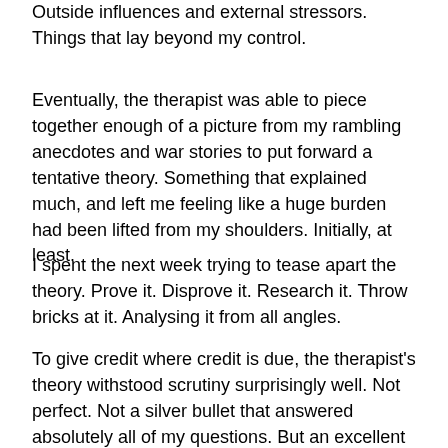Outside influences and external stressors. Things that lay beyond my control.
Eventually, the therapist was able to piece together enough of a picture from my rambling anecdotes and war stories to put forward a tentative theory. Something that explained much, and left me feeling like a huge burden had been lifted from my shoulders. Initially, at least.
I spent the next week trying to tease apart the theory. Prove it. Disprove it. Research it. Throw bricks at it. Analysing it from all angles.
To give credit where credit is due, the therapist's theory withstood scrutiny surprisingly well. Not perfect. Not a silver bullet that answered absolutely all of my questions. But an excellent starting point, something to work with.